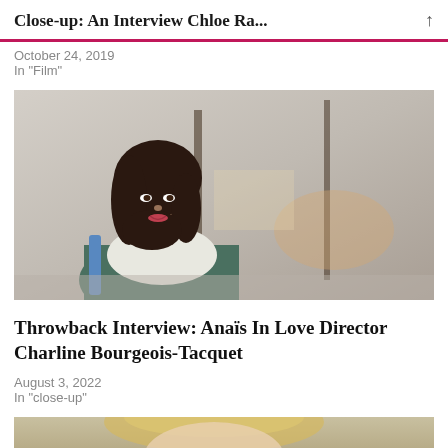Close-up: An Interview Chloe Ra...
October 24, 2019
In "Film"
[Figure (photo): Young woman with dark hair looking over her shoulder on a city street, smiling, wearing a white top with a green bag]
Throwback Interview: Anaïs In Love Director Charline Bourgeois-Tacquet
August 3, 2022
In "close-up"
[Figure (photo): Partial view of a person with blonde hair, cropped at bottom of page]